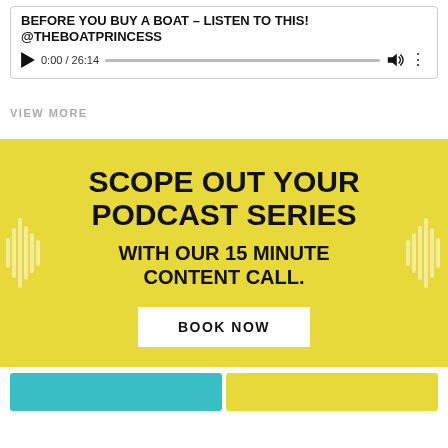[Figure (screenshot): Audio player widget showing podcast title 'BEFORE YOU BUY A BOAT - LISTEN TO THIS! @THEBOATPRINCESS' with playback controls showing 0:00 / 26:14]
VIEW MORE
[Figure (infographic): Yellow promotional banner with text 'SCOPE OUT YOUR PODCAST SERIES WITH OUR 15 MINUTE CONTENT CALL.' and a BOOK NOW button, with sound wave decorations on either side]
[Figure (screenshot): Bottom strip showing two colored cards: teal/blue on left, yellow on right]